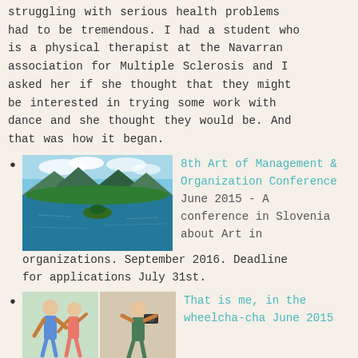struggling with serious health problems had to be tremendous. I had a student who is a physical therapist at the Navarran association for Multiple Sclerosis and I asked her if she thought that they might be interested in trying some work with dance and she thought they would be. And that was how it began.
8th Art of Management & Organization Conference June 2015 - A conference in Slovenia about Art in organizations. September 2016. Deadline for applications July 31st.
That is me, in the wheelcha-cha June 2015